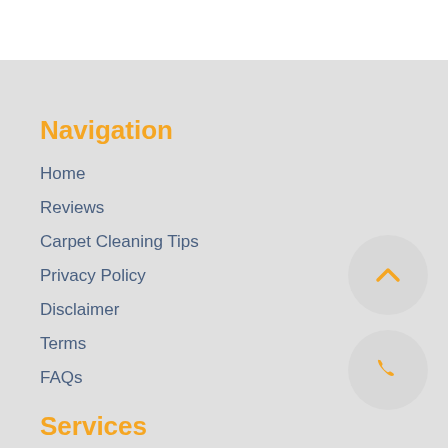Navigation
Home
Reviews
Carpet Cleaning Tips
Privacy Policy
Disclaimer
Terms
FAQs
[Figure (illustration): Orange chevron/up-arrow icon inside a light gray circle button]
[Figure (illustration): Orange phone/telephone icon inside a light gray circle button]
Services